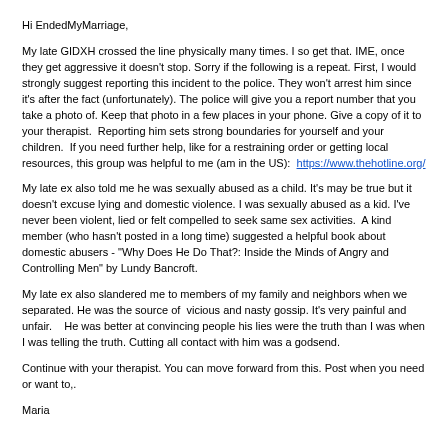Hi EndedMyMarriage,
My late GIDXH crossed the line physically many times. I so get that. IME, once they get aggressive it doesn't stop. Sorry if the following is a repeat. First, I would strongly suggest reporting this incident to the police. They won't arrest him since it's after the fact (unfortunately). The police will give you a report number that you take a photo of. Keep that photo in a few places in your phone. Give a copy of it to your therapist.  Reporting him sets strong boundaries for yourself and your children.  If you need further help, like for a restraining order or getting local resources, this group was helpful to me (am in the US):  https://www.thehotline.org/
My late ex also told me he was sexually abused as a child. It's may be true but it doesn't excuse lying and domestic violence. I was sexually abused as a kid. I've never been violent, lied or felt compelled to seek same sex activities.  A kind member (who hasn't posted in a long time) suggested a helpful book about domestic abusers - "Why Does He Do That?: Inside the Minds of Angry and Controlling Men" by Lundy Bancroft.
My late ex also slandered me to members of my family and neighbors when we separated. He was the source of  vicious and nasty gossip. It's very painful and unfair.    He was better at convincing people his lies were the truth than I was when I was telling the truth. Cutting all contact with him was a godsend.
Continue with your therapist. You can move forward from this. Post when you need or want to,.
Maria